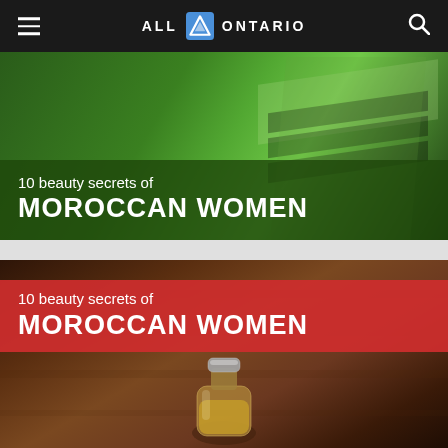ALL ONTARIO
[Figure (photo): Article thumbnail showing a woman in a green outfit with text overlay on dark green background reading '10 beauty secrets of MOROCCAN WOMEN']
[Figure (photo): Article thumbnail showing a small glass oil bottle on a wooden surface with red text overlay reading '10 beauty secrets of MOROCCAN WOMEN']